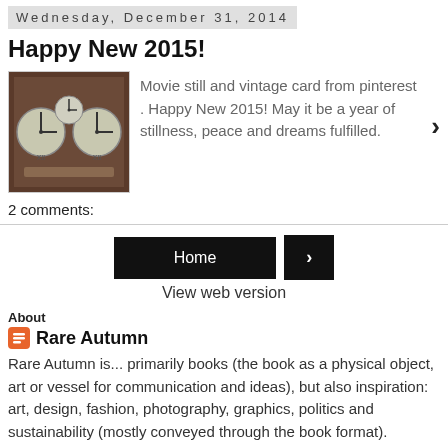Wednesday, December 31, 2014
Happy New 2015!
[Figure (photo): Photo of vintage clocks on a dark wooden surface]
Movie still and vintage card from pinterest . Happy New 2015! May it be a year of stillness, peace and dreams fulfilled.
2 comments:
Home
View web version
About
Rare Autumn
Rare Autumn is... primarily books (the book as a physical object, art or vessel for communication and ideas), but also inspiration: art, design, fashion, photography, graphics, politics and sustainability (mostly conveyed through the book format).
View my complete profile